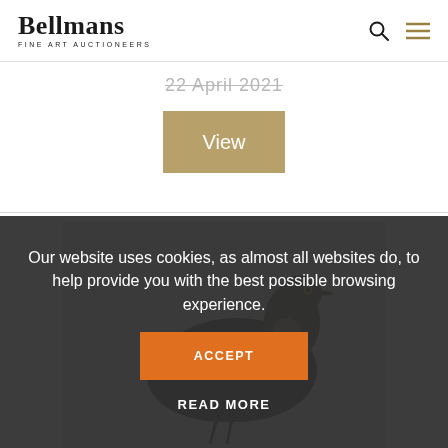[Figure (logo): Bellmans Fine Art Auctioneers logo with serif font and tagline]
22 April 2021
View
[Figure (photo): Close-up photograph of a bird (appears to be a plover or similar wading bird) with dark plumage and speckled neck, on a light beige background]
Our website uses cookies, as almost all websites do, to help provide you with the best possible browsing experience.
ACCEPT
READ MORE